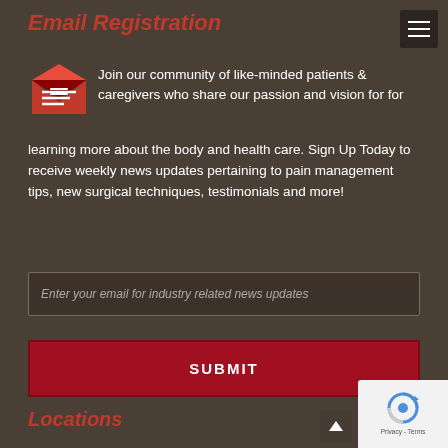Email Registration
Join our community of like-minded patients & caregivers who share our passion and vision for for learning more about the body and health care. Sign Up Today to receive weekly news updates pertaining to pain management tips, new surgical techniques, testimonials and more!
Enter your email for industry related news updates
SUBMIT
Locations